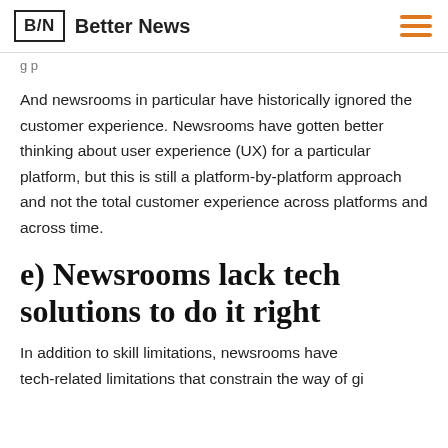B/N  Better News
And newsrooms in particular have historically ignored the customer experience. Newsrooms have gotten better thinking about user experience (UX) for a particular platform, but this is still a platform-by-platform approach and not the total customer experience across platforms and across time.
e) Newsrooms lack tech solutions to do it right
In addition to skill limitations, newsrooms have tech-related limitations that constrain the way of giving...